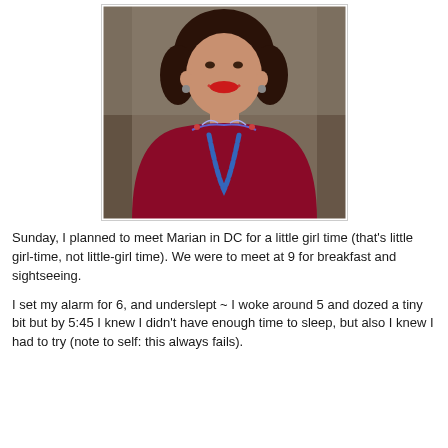[Figure (photo): A smiling woman with dark curly hair, wearing a dark red/maroon long-sleeve top with colorful embroidery at the neckline and a long blue beaded necklace. She appears to be seated indoors.]
Sunday, I planned to meet Marian in DC for a little girl time (that's little girl-time, not little-girl time).  We were to meet at 9 for breakfast and sightseeing.
I set my alarm for 6, and underslept ~ I woke around 5 and dozed a tiny bit but by 5:45 I knew I didn't have enough time to sleep, but also I knew I had to try (note to self: this always fails).